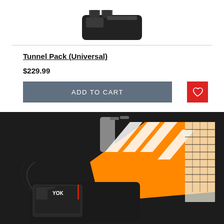[Figure (photo): Top portion of a black motorcycle tunnel bag/tail bag product photo on white background]
Tunnel Pack (Universal)
$229.99
ADD TO CART
[Figure (photo): Motorcycle with orange and white graphics panels, black tunnel pack installed on the seat/tunnel area, handlebars visible, dark background]